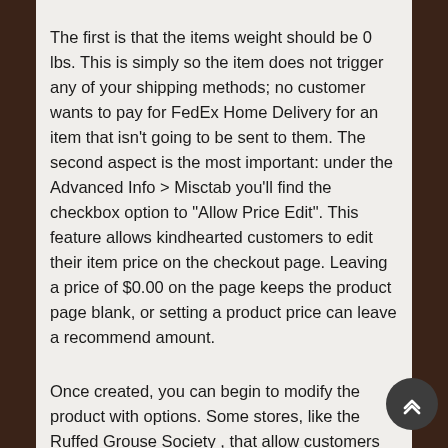The first is that the items weight should be 0 lbs. This is simply so the item does not trigger any of your shipping methods; no customer wants to pay for FedEx Home Delivery for an item that isn't going to be sent to them. The second aspect is the most important: under the Advanced Info > Misctab you'll find the checkbox option to "Allow Price Edit". This feature allows kindhearted customers to edit their item price on the checkout page. Leaving a price of $0.00 on the page keeps the product page blank, or setting a product price can leave a recommend amount.
Once created, you can begin to modify the product with options. Some stores, like the Ruffed Grouse Society , that allow customers to earmark and dedicate their giving to specific causes within the organization. Other social entrepreneurs, like Somethin Special , create options featuring a variety of different charitable organizations for customers to choose whom their giving benefits.
Building a donation is just one way in which you can put your toe into the veritable social entrepreneurship waters. Standalone products, outreach, social media influence and more, there are so many ways in which you can engage with online communities for a net positive. However, the true benefit of integrating social entrepreneurship tendencies into your business is found outside your brick and mortar. It's found by